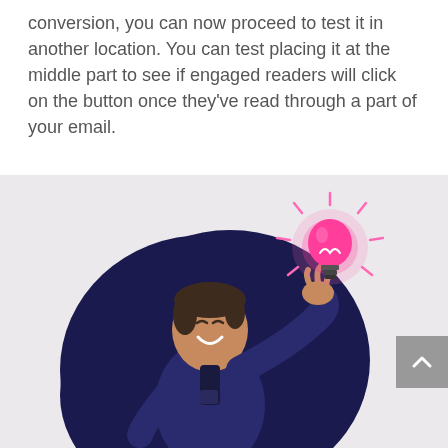conversion, you can now proceed to test it in another location. You can test placing it at the middle part to see if engaged readers will click on the button once they've read through a part of your email.
[Figure (illustration): Illustration of a man holding up a glowing pink lightbulb in his outstretched hand, smiling upward. He is wearing a dark navy outfit. The figure is set against a large dark navy circular blob shape on a light gray background. A scroll-to-top button (gray with upward arrow) appears in the bottom right.]